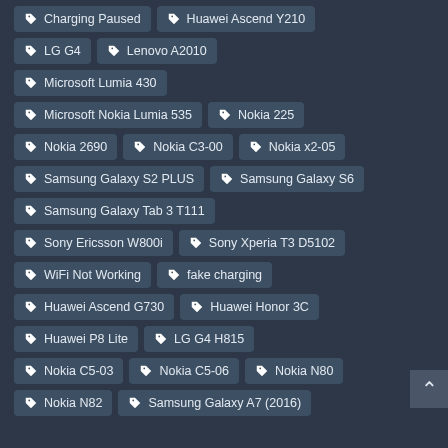Charging Paused
Huawei Ascend Y210
LG G4
Lenovo A2010
Microsoft Lumia 430
Microsoft Nokia Lumia 535
Nokia 225
Nokia 2690
Nokia C3-00
Nokia x2-05
Samsung Galaxy S2 PLUS
Samsung Galaxy S6
Samsung Galaxy Tab 3 T111
Sony Ericsson W800i
Sony Xperia T3 D5102
WiFi Not Working
fake charging
Huawei Ascend G730
Huawei Honor 3C
Huawei P8 Lite
LG G4 H815
Nokia C5-03
Nokia C5-06
Nokia N80
Nokia N82
Samsung Galaxy A7 (2016)